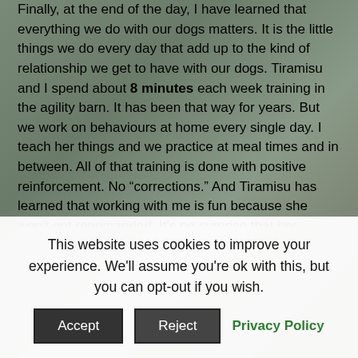Finally, at the end of the day, I have learned that everything we do with our dogs matters. It is the little things we do every day that add up to the kind of relationship we get to have with our dogs. Tiramisu and I spend about 8 minutes each week training in the agility barn. It has been that way for years. But we work on behaviours at home every single day. I teach her things and we practice at meal times and in between. All of that training is done with positive reinforcement. No “corrections.” And Tiramisu has learned that working with me is fun because she won't get reprimanded. It's no surprise that her wonderfully positive attitude comes with her when we get onto the agility course.

Last year at this time, I didn't know if we would ever get to play agility again. Having come through her breakdown and getting her back to competition form, I know Tiramisu is truly
This website uses cookies to improve your experience. We'll assume you're ok with this, but you can opt-out if you wish.
Accept   Reject   Privacy Policy